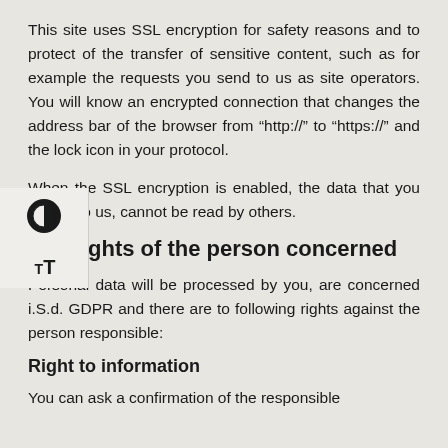This site uses SSL encryption for safety reasons and to protect of the transfer of sensitive content, such as for example the requests you send to us as site operators. You will know an encrypted connection that changes the address bar of the browser from “http://” to “https://” and the lock icon in your protocol.
When the SSL encryption is enabled, the data that you submit to us, cannot be read by others.
ghts of the person concerned
Personal data will be processed by you, are concerned i.S.d. GDPR and there are to following rights against the person responsible:
Right to information
You can ask a confirmation of the responsible